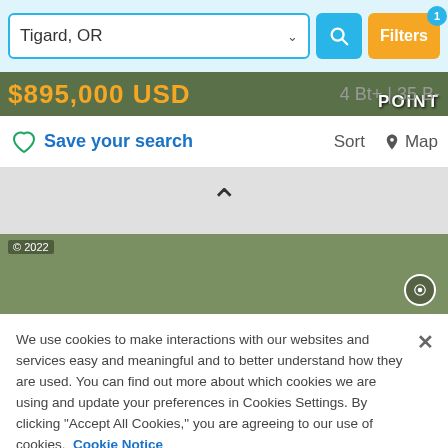[Figure (screenshot): Search bar with 'Tigard, OR' input, blue search button, and yellow Filters button with badge '1']
$895,000 USD
4 Bt+ | 35 B-
Save your search   Sort   Map
[Figure (photo): Partial real estate listing photo showing trees and outdoor scenery, copyright 2022]
We use cookies to make interactions with our websites and services easy and meaningful and to better understand how they are used. You can find out more about which cookies we are using and update your preferences in Cookies Settings. By clicking "Accept All Cookies," you are agreeing to our use of cookies.  Cookie Notice
Cookies Settings
Accept All Cookies